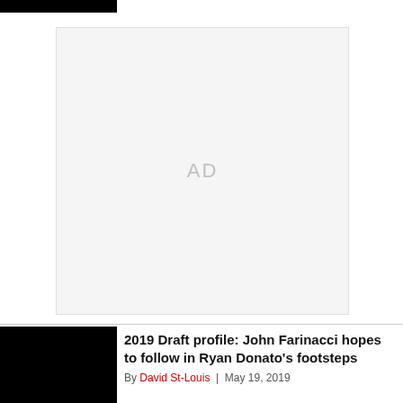[Figure (other): Black navigation bar at top left]
[Figure (other): Advertisement placeholder box with 'AD' text in center]
[Figure (photo): Black thumbnail image for article]
2019 Draft profile: John Farinacci hopes to follow in Ryan Donato's footsteps
By David St-Louis | May 19, 2019